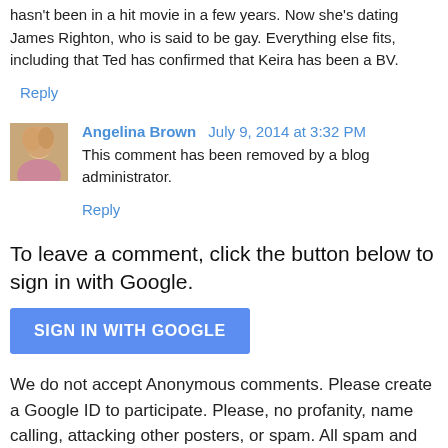hasn't been in a hit movie in a few years. Now she's dating James Righton, who is said to be gay. Everything else fits, including that Ted has confirmed that Keira has been a BV.
Reply
Angelina Brown  July 9, 2014 at 3:32 PM
This comment has been removed by a blog administrator.
Reply
To leave a comment, click the button below to sign in with Google.
SIGN IN WITH GOOGLE
We do not accept Anonymous comments. Please create a Google ID to participate. Please, no profanity, name calling, attacking other posters, or spam. All spam and unrelated posts will be removed.